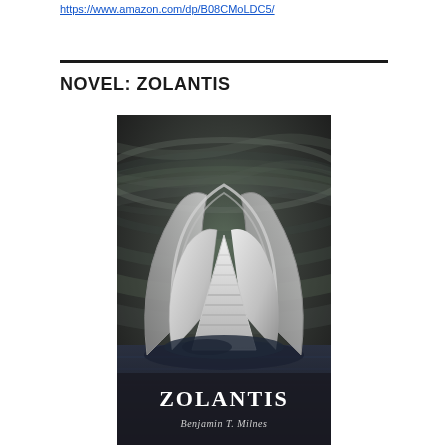https://www.amazon.com/dp/B08CMoLDC5/
NOVEL: ZOLANTIS
[Figure (illustration): Book cover for 'Zolantis' by Benjamin T. Milnes. Dark swirling background in grey-green tones with a white sculptural lotus-like building structure sitting on dark water. The title 'ZOLANTIS' appears in white serif text at the bottom, with 'Benjamin T. Milnes' in italic below it.]